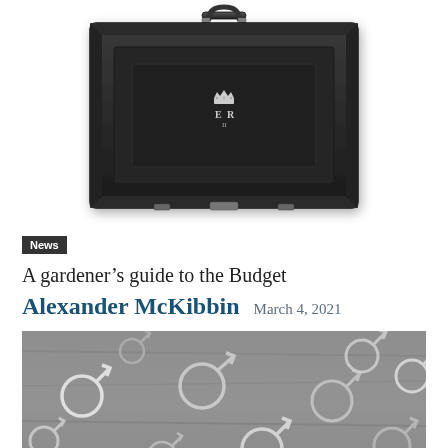[Figure (photo): Black government budget briefcase with royal ER II cipher emblem on front, photographed from the front against white background]
News
A gardener's guide to the Budget
Alexander McKibbin  March 4, 2021
[Figure (photo): Black and white close-up photograph of many male gender symbol charms (circle with arrow) made of silver metal scattered on a wooden surface]